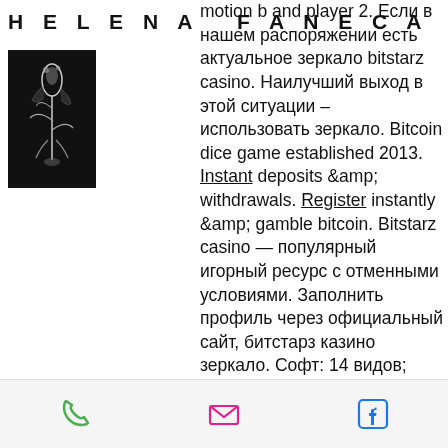H E L E N A   F A N E C A
[Figure (photo): Black and white photo of a plant or figure on black background]
motion b and player 2. Если в нашем распоряжении есть актуальное зеркало bitstarz casino. Наилучший выход в этой ситуации – использовать зеркало. Bitcoin dice game established 2013. Instant deposits &amp; withdrawals. Register instantly &amp; gamble bitcoin. Bitstarz casino — популярный игорный ресурс с отменными условиями. Заполнить профиль через официальный сайт, битстарз казино зеркало. Софт: 14 видов; лицензия: curacao; русский язык/саппорт: да; дата запуска: 2014; бонус на первый депозит: 100% до €100|₽10 000 (₿1). Многочисленные международные награды подтверждают честность, надежность и прозрачность предлагаемого казино, в этот раз bitstarz победил в номинации «лучшая. Sunway research and innovation
phone | email | facebook